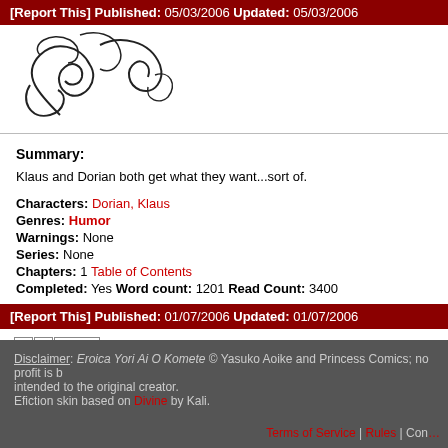[Report This] Published: 05/03/2006 Updated: 05/03/2006
[Figure (illustration): Decorative swirling line art illustration, black on white, partial view]
Summary:
Klaus and Dorian both get what they want...sort of.
Characters: Dorian, Klaus
Genres: Humor
Warnings: None
Series: None
Chapters: 1 Table of Contents
Completed: Yes Word count: 1201 Read Count: 3400
[Report This] Published: 01/07/2006 Updated: 01/07/2006
1 2 [Next]
Disclaimer: Eroica Yori Ai O Komete © Yasuko Aoike and Princess Comics; no profit is being made and no infringement is intended to the original creator. Efiction skin based on Divine by Kali.
Terms of Service | Rules | Contact